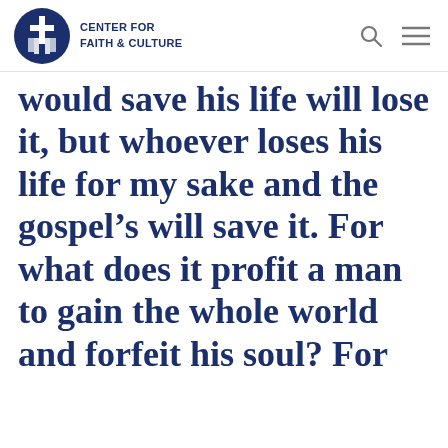CENTER FOR FAITH & CULTURE
would save his life will lose it, but whoever loses his life for my sake and the gospel's will save it. For what does it profit a man to gain the whole world and forfeit his soul? For